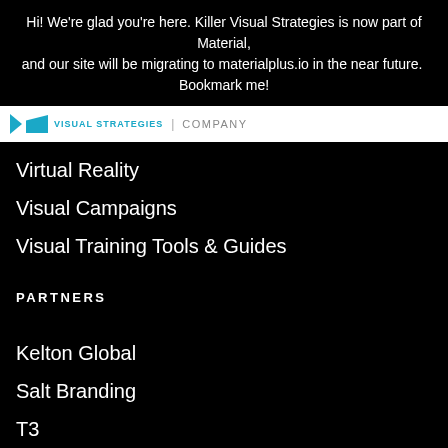Hi! We're glad you're here. Killer Visual Strategies is now part of Material, and our site will be migrating to materialplus.io in the near future.  Bookmark me!
VISUAL STRATEGIES | COMPANY
Virtual Reality
Visual Campaigns
Visual Training Tools & Guides
PARTNERS
Kelton Global
Salt Branding
T3
Karma Agency